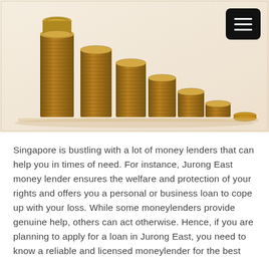[Figure (photo): A row of seven stacks of gold coins arranged in descending height from left to right, on a light beige surface. The tallest stack on the left has a coin balanced on top. The stacks gradually decrease in height until the rightmost is just a single coin lying flat.]
Singapore is bustling with a lot of money lenders that can help you in times of need. For instance, Jurong East money lender ensures the welfare and protection of your rights and offers you a personal or business loan to cope up with your loss. While some moneylenders provide genuine help, others can act otherwise. Hence, if you are planning to apply for a loan in Jurong East, you need to know a reliable and licensed moneylender for the best